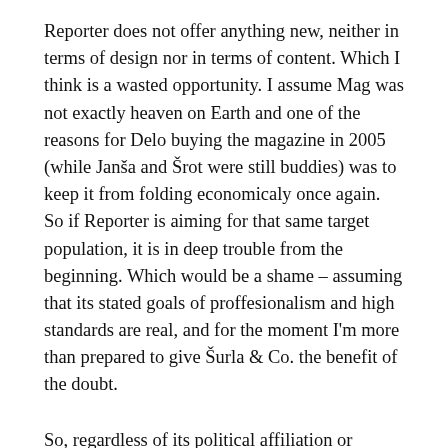Reporter does not offer anything new, neither in terms of design nor in terms of content. Which I think is a wasted opportunity. I assume Mag was not exactly heaven on Earth and one of the reasons for Delo buying the magazine in 2005 (while Janša and Šrot were still buddies) was to keep it from folding economicaly once again. So if Reporter is aiming for that same target population, it is in deep trouble from the beginning. Which would be a shame – assuming that its stated goals of proffesionalism and high standards are real, and for the moment I'm more than prepared to give Šurla & Co. the benefit of the doubt.
So, regardless of its political affiliation or orientation, I keep my fingers crossed for Reporter. A hundred pages every week is a lot, both in terms of money and content. And hopefully, the latter will be of interest to people who didn't read Mag before